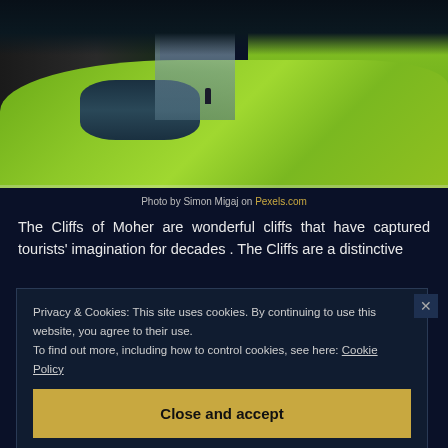[Figure (photo): A person standing near the base of a waterfall surrounded by dramatic green cliffs and lush grass, viewed from above. Rocky dark cliff faces on the left, green rolling hills on the right.]
Photo by Simon Migaj on Pexels.com
The Cliffs of Moher are wonderful cliffs that have captured tourists' imagination for decades . The Cliffs are a distinctive
Privacy & Cookies: This site uses cookies. By continuing to use this website, you agree to their use.
To find out more, including how to control cookies, see here: Cookie Policy
Close and accept